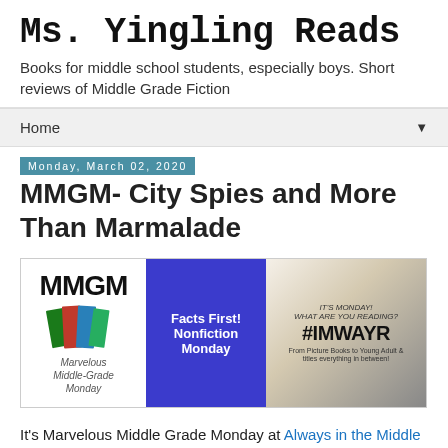Ms. Yingling Reads
Books for middle school students, especially boys. Short reviews of Middle Grade Fiction
Home ▼
Monday, March 02, 2020
MMGM- City Spies and More Than Marmalade
[Figure (illustration): MMGM Marvelous Middle-Grade Monday logo with stacked books, Facts First! Nonfiction Monday purple box, and #IMWAYR It's Monday What Are You Reading banner]
It's Marvelous Middle Grade Monday at Always in the Middle and #IMWAYR day at Teach Mentor Texts and Unleashing Readers. It also Nonfiction Monday.